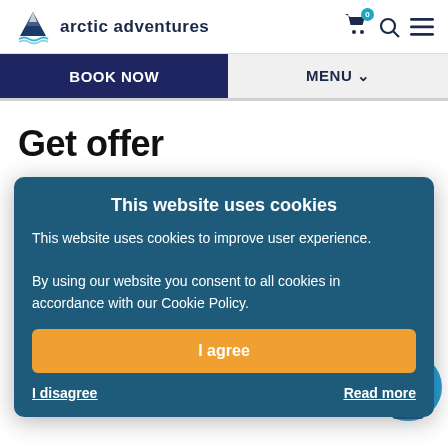arctic adventures
BOOK NOW   MENU
Get offer
[Figure (screenshot): Cookie consent modal overlaying a teal booking form on the Arctic Adventures website. Modal reads: 'This website uses cookies. This website uses cookies to improve user experience. By using our website you consent to all cookies in accordance with our Cookie Policy.' with 'I agree' button and 'I disagree' / 'Read more' links.]